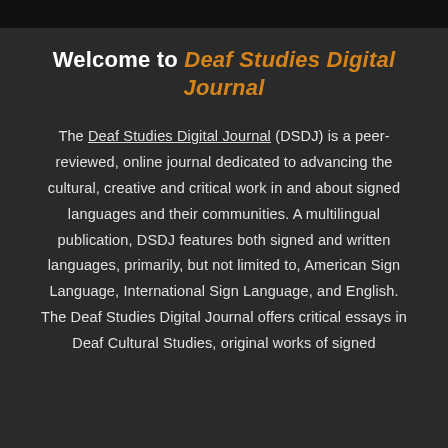Welcome to Deaf Studies Digital Journal
The Deaf Studies Digital Journal (DSDJ) is a peer-reviewed, online journal dedicated to advancing the cultural, creative and critical work in and about signed languages and their communities. A multilingual publication, DSDJ features both signed and written languages, primarily, but not limited to, American Sign Language, International Sign Language, and English. The Deaf Studies Digital Journal offers critical essays in Deaf Cultural Studies, original works of signed